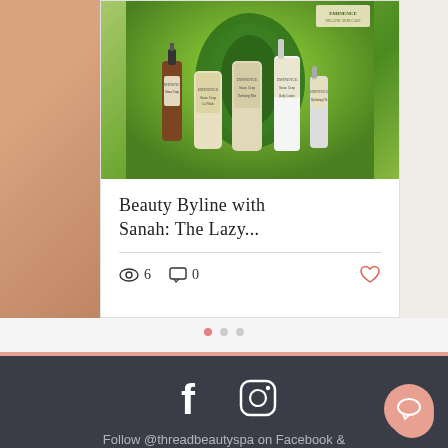[Figure (photo): Product photo showing Eminence skincare products including serums, lotions, and mists arranged on a green leafy background]
Beauty Byline with Sanah: The Lazy...
6 views  0 comments  like
[Figure (other): Three navigation dots, first dot active (pink), two dots inactive (gray)]
Follow @threadbeautyspa on Facebook & Instagram to see our work and pop-up deals
4426 Hugh Howell Rd Ste E3
Tucker, GA 30084